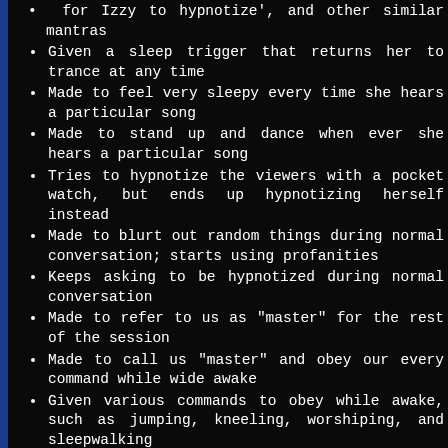for Izzy to hypnotize', and other similar mantras (partial, top of page)
Given a sleep trigger that returns her to trance at any time
Made to feel very sleepy every time she hears a particular song
Made to stand up and dance when ever she hears a particular song
Tries to hypnotize the viewers with a pocket watch, but ends up hypnotizing herself instead
Made to blurt out random things during normal conversation; starts using profanities
Keeps asking to be hypnotized during normal conversation
Made to refer to us as "master" for the rest of the session
Made to call us "master" and obey our every command while wide awake
Given various commands to obey while awake, such as jumping, kneeling, worshiping, and sleepwalking
Made to feel ditzy and dumb each time she's tapped on the head with a club
Made to become blank and obedient when she hears a particular song
Made to march through the room repeating her mantra
Made to behave like... (partial, bottom of page)